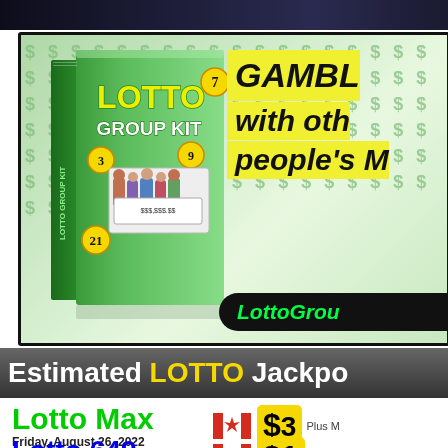[Figure (photo): Dark photo strip at the top of the page]
[Figure (illustration): Lotto Group Kit advertisement banner showing a book titled 'LOTTO GROUP KIT' with lottery balls and a group of people holding a cheque, with text 'GAMBLE with other people's M...' and 'LottoGrou...' button on green background with dollar signs]
Estimated LOTTO Jackpo...
Lotto Max
Friday, August 26, 2022
Lotto 649
Wednesday, August 24, 2022